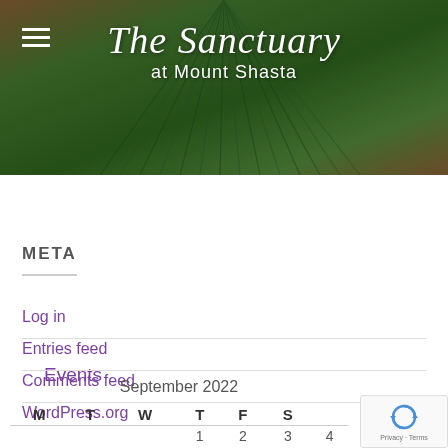[Figure (photo): Website header banner showing a decorative green feather/plant motif with the site title 'The Sanctuary at Mount Shasta' overlaid in white serif italic text, with a hamburger menu icon on the left]
Events
META
Log in
Entries feed
Comments feed
WordPress.org
| September 2022 |  |  |  |  |  |  |
| --- | --- | --- | --- | --- | --- | --- |
| M | T | W | T | F | S |  |
|  |  |  | 1 | 2 | 3 | 4 |